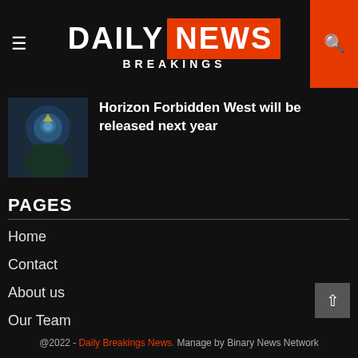DAILY BREAKINGS NEWS
Horizon Forbidden West will be released next year
PAGES
Home
Contact
About us
Our Team
Disclaimer
Privacy Policy
@2022 - Daily Breakings News. Manage by Binary News Network